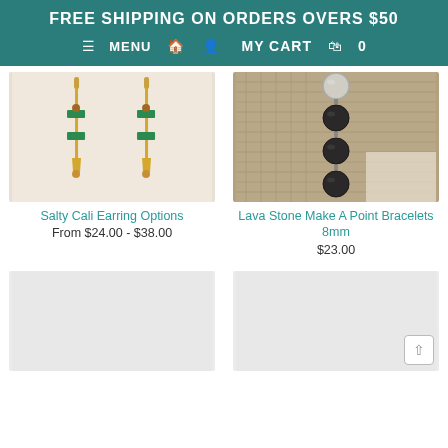FREE SHIPPING ON ORDERS OVERS $50
≡ MENU  🏠  👤  MY CART  🛍  0
[Figure (photo): Gold earrings with green gemstone accents on white background]
Salty Cali Earring Options
From $24.00 - $38.00
[Figure (photo): Lava stone bracelet with black and light colored beads on burlap background]
Lava Stone Make A Point Bracelets 8mm
$23.00
[Figure (photo): Product image placeholder (light gray)]
[Figure (photo): Product image placeholder (light gray)]